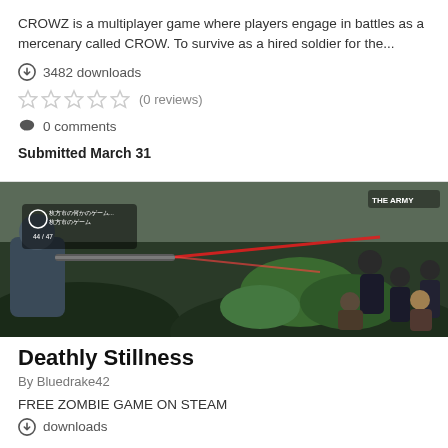CROWZ is a multiplayer game where players engage in battles as a mercenary called CROW. To survive as a hired soldier for the...
3482 downloads
(0 reviews)
0 comments
Submitted March 31
[Figure (photo): Screenshot from the game Deathly Stillness showing a player character aiming a shotgun at a group of zombies in a forested outdoor environment. Red laser sight visible. Game UI elements in top-left corner.]
Deathly Stillness
By Bluedrake42
FREE ZOMBIE GAME ON STEAM
downloads